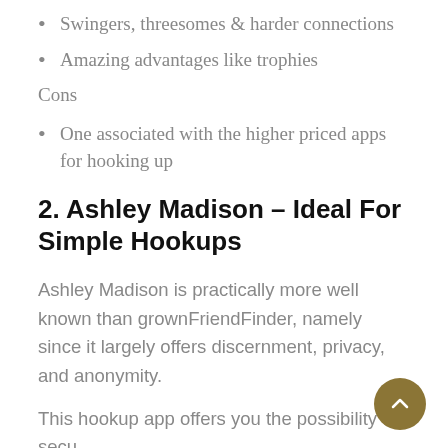Swingers, threesomes & harder connections
Amazing advantages like trophies
Cons
One associated with the higher priced apps for hooking up
2. Ashley Madison – Ideal For Simple Hookups
Ashley Madison is practically more well known than grownFriendFinder, namely since it largely offers discernment, privacy, and anonymity.
This hookup app offers you the possibility to secu… and blur photographs. Jeg automatically even the such